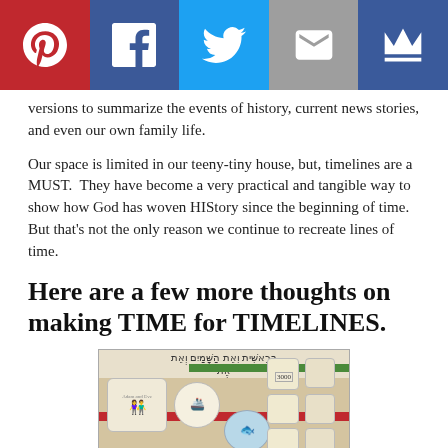[Figure (infographic): Social media sharing bar with Pinterest (red), Facebook (dark blue), Twitter (light blue), Email (grey), and Crown/Bloglovin (dark blue) buttons]
versions to summarize the events of history, current news stories, and even our own family life.
Our space is limited in our teeny-tiny house, but, timelines are a MUST.  They have become a very practical and tangible way to show how God has woven HIStory since the beginning of time.  But that's not the only reason we continue to recreate lines of time.
Here are a few more thoughts on making TIME for TIMELINES.
[Figure (photo): Photo of a wall-mounted timeline display with Hebrew text banners, illustrated cards including Adam and Eve, and numbered date markers like 3000]